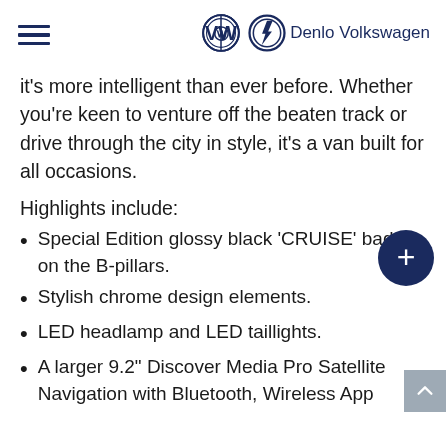Denlo Volkswagen
it’s more intelligent than ever before. Whether you’re keen to venture off the beaten track or drive through the city in style, it’s a van built for all occasions.
Highlights include:
Special Edition glossy black ‘CRUISE’ badge on the B-pillars.
Stylish chrome design elements.
LED headlamp and LED taillights.
A larger 9.2” Discover Media Pro Satellite Navigation with Bluetooth, Wireless App